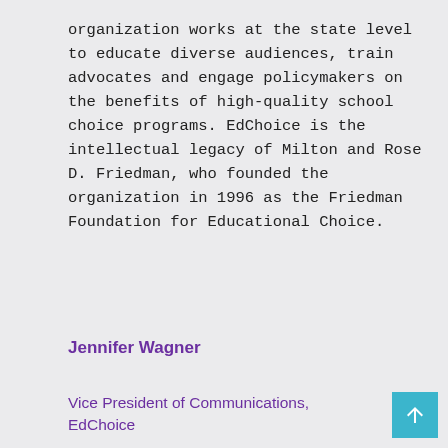organization works at the state level to educate diverse audiences, train advocates and engage policymakers on the benefits of high-quality school choice programs. EdChoice is the intellectual legacy of Milton and Rose D. Friedman, who founded the organization in 1996 as the Friedman Foundation for Educational Choice.
Jennifer Wagner
Vice President of Communications, EdChoice